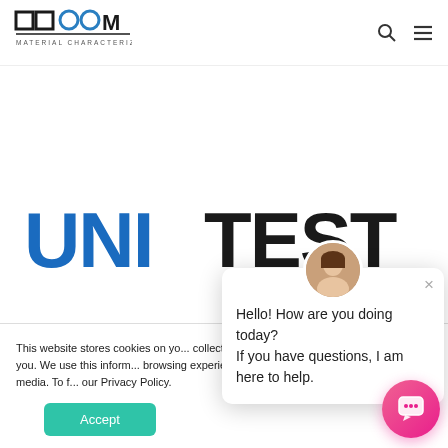[Figure (logo): DUCOM Material Characterization Systems logo in top left navbar]
[Figure (logo): UNITEST logo in large bold text, UNI in blue and TEST in black]
This website stores cookies on your computer to collect information about how you interact with our website and allow us to remember you. We use this information in order to improve your browsing experience and for analytics and metrics about our visitors both on this website and other media. To find out more about the cookies we use, see our Privacy Policy.
[Figure (screenshot): Accept button (teal/green rounded rectangle)]
[Figure (infographic): Chat popup with avatar saying: Hello! How are you doing today? If you have questions, I am here to help.]
[Figure (other): Pink chat FAB button in bottom right corner]